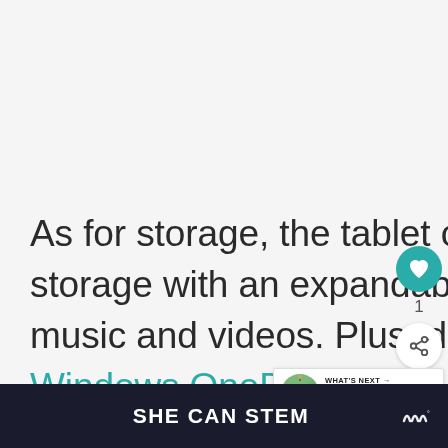As for storage, the tablet offers about 2GB of usable storage with an expandable Micro SD slot for storing music and videos. Plus, don't forget about your free Windows OneDrive account that offers another 15GB of free storage and surf
[Figure (other): Social sidebar with heart (favorite) button showing count 1, and share button]
[Figure (other): What's Next panel showing thumbnail and text 'The Ritz Carlton...']
SHE CAN STEM